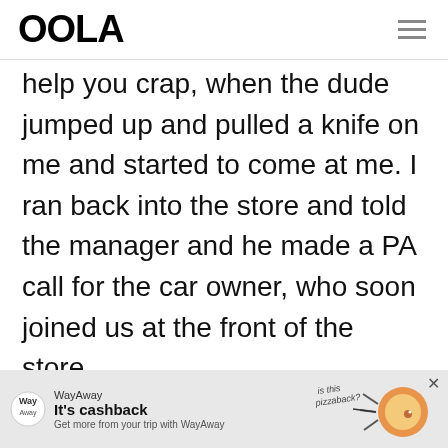OOLA
help you crap, when the dude jumped up and pulled a knife on me and started to come at me. I ran back into the store and told the manager and he made a PA call for the car owner, who soon joined us at the front of the store.

Another manager and I headed
[Figure (infographic): WayAway advertisement banner: logo icon, 'It's cashback' headline, 'Get more from your trip with WayAway' subtext, illustration of pizza hedgehog with 'is this pizzaback?' text, close X button]